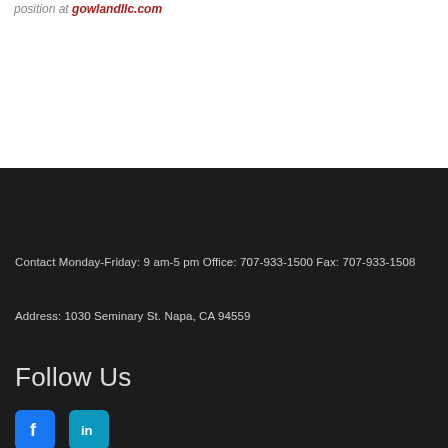position at gowlandllc.com
Contact Monday-Friday: 9 am-5 pm Office: 707-933-1500 Fax: 707-933-1508
Address: 1030 Seminary St. Napa, CA 94559
Follow Us
[Figure (other): Facebook and LinkedIn social media icons]